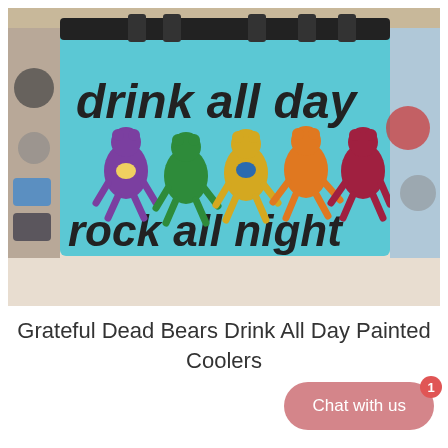[Figure (photo): Photo of a light blue painted cooler with black text reading 'drink all day' on top and 'rock all night' on bottom, with five colorful Grateful Dead dancing bears (purple, green, yellow, orange, red/maroon) in the middle. The cooler has black latches on top. Various stickers visible on the sides.]
Grateful Dead Bears Drink All Day Painted Coolers